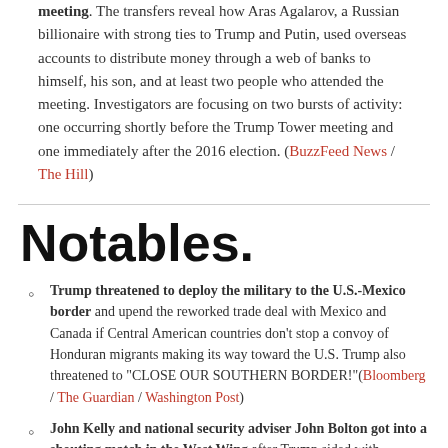meeting. The transfers reveal how Aras Agalarov, a Russian billionaire with strong ties to Trump and Putin, used overseas accounts to distribute money through a web of banks to himself, his son, and at least two people who attended the meeting. Investigators are focusing on two bursts of activity: one occurring shortly before the Trump Tower meeting and one immediately after the 2016 election. (BuzzFeed News / The Hill)
Notables.
Trump threatened to deploy the military to the U.S.-Mexico border and upend the reworked trade deal with Mexico and Canada if Central American countries don't stop a convoy of Honduran migrants making its way toward the U.S. Trump also threatened to "CLOSE OUR SOUTHERN BORDER!"(Bloomberg / The Guardian / Washington Post)
John Kelly and national security adviser John Bolton got into a shouting match in the West Wing after Trump sided with